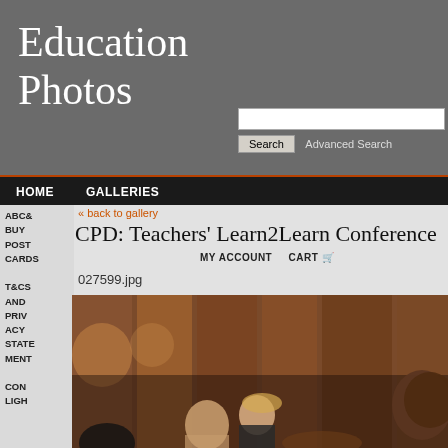Education Photos
HOME   GALLERIES
« back to gallery
CPD: Teachers' Learn2Learn Conference
MY ACCOUNT    CART
027599.jpg
[Figure (photo): Conference room scene with people seated, warm wooden paneled background, partial faces visible including a woman on the right side.]